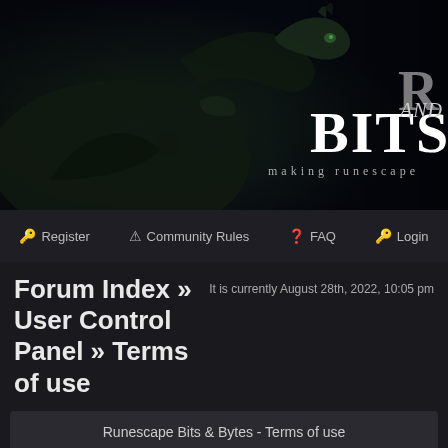[Figure (illustration): Dark fantasy banner with a green dragon silhouette on the left and 'BITS AND' text with 'making runescape' tagline on the right, dark moody background.]
Register | Community Rules | FAQ | Login
Forum Index » User Control Panel » Terms of use
It is currently August 28th, 2022, 10:05 pm
Runescape Bits & Bytes - Terms of use
By accessing "Runescape Bits & Bytes" (hereinafter "we", "us", "our", "Runescape Bits & Bytes", "https://www.rsbandb.com/forums"), you agree to be legally